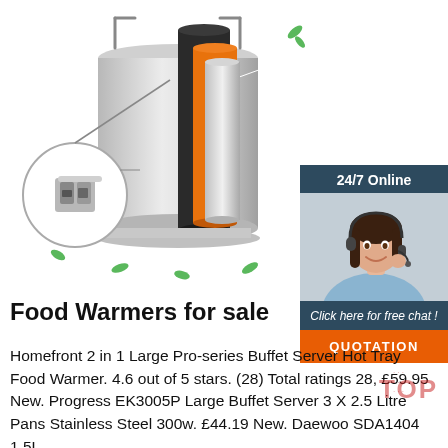[Figure (photo): Product photo of a stainless steel food warmer/buffet server with orange and black insulation layers visible in a cutaway view. A circular inset shows a close-up of the locking clasp mechanism. Green leaf decorations scattered around the product.]
[Figure (photo): Sidebar with '24/7 Online' header, photo of a smiling woman with a headset (customer service representative), and a 'Click here for free chat!' message with an orange QUOTATION button.]
Food Warmers for sale
Homefront 2 in 1 Large Pro-series Buffet Server Hot Tray Food Warmer. 4.6 out of 5 stars. (28) Total ratings 28, £59.95 New. Progress EK3005P Large Buffet Server 3 X 2.5 Litre Pans Stainless Steel 300w. £44.19 New. Daewoo SDA1404 1.5L